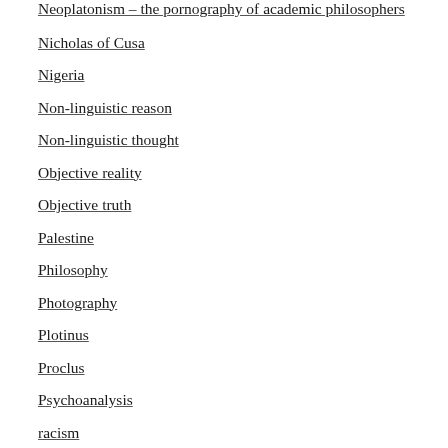Neoplatonism – the pornography of academic philosophers
Nicholas of Cusa
Nigeria
Non-linguistic reason
Non-linguistic thought
Objective reality
Objective truth
Palestine
Philosophy
Photography
Plotinus
Proclus
Psychoanalysis
racism
Reason
Religion